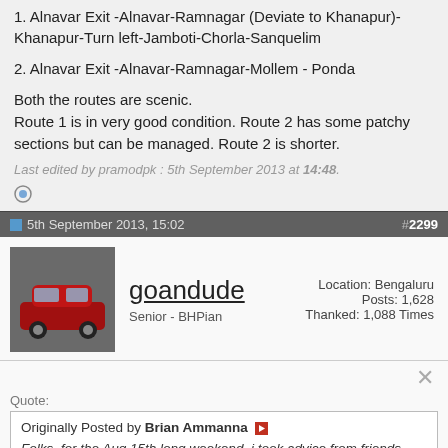1. Alnavar Exit -Alnavar-Ramnagar (Deviate to Khanapur)-Khanapur-Turn left-Jamboti-Chorla-Sanquelim
2. Alnavar Exit -Alnavar-Ramnagar-Mollem - Ponda
Both the routes are scenic.
Route 1 is in very good condition. Route 2 has some patchy sections but can be managed. Route 2 is shorter.
Last edited by pramodpk : 5th September 2013 at 14:48.
5th September 2013, 15:02   #2299
goandude
Senior - BHPian
Location: Bengaluru
Posts: 1,628
Thanked: 1,088 Times
Quote:
Originally Posted by Brian Ammanna
Folks, for the Aug 15th long weekend, i took advice from friends here and drove to north goa via Hubli, Dharwad, Ramnagar, Anmod Ghat, Ponda and Panjim.